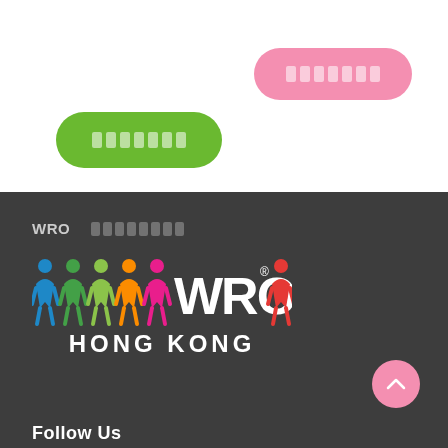[Figure (other): Pink rounded button with placeholder text boxes]
[Figure (other): Green rounded button with placeholder text boxes]
WRO ░░░░░░░░░
[Figure (logo): WRO HONG KONG logo with colorful paper-doll figures and WRO text]
[Figure (other): Pink circular scroll-to-top button with chevron up arrow]
Follow Us